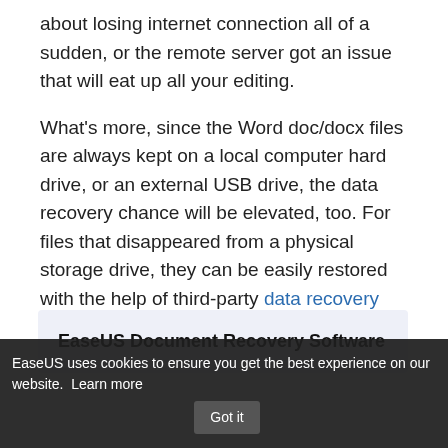about losing internet connection all of a sudden, or the remote server got an issue that will eat up all your editing.
What's more, since the Word doc/docx files are always kept on a local computer hard drive, or an external USB drive, the data recovery chance will be elevated, too. For files that disappeared from a physical storage drive, they can be easily restored with the help of third-party data recovery software.
EaseUS Document Recovery Software
EaseUS uses cookies to ensure you get the best experience on our website. Learn more  Got it